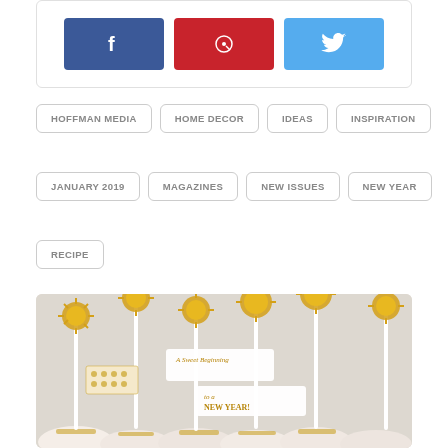[Figure (other): Social share buttons: Facebook (blue), Pinterest (red), Twitter (light blue)]
HOFFMAN MEDIA
HOME DECOR
IDEAS
INSPIRATION
JANUARY 2019
MAGAZINES
NEW ISSUES
NEW YEAR
RECIPE
[Figure (photo): White chocolate-dipped marshmallow pops decorated with gold tinsel pompoms on white sticks, with small banner flags reading 'A Sweet Beginning to a New Year!' Gold sprinkles at base.]